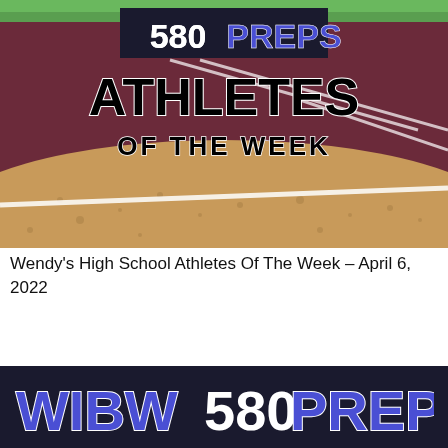[Figure (illustration): 580 Preps Athletes of the Week banner image with sports field background showing maroon track, white yard lines, and sandy dirt, with '580PREPS' logo at top and 'ATHLETES OF THE WEEK' text in large bold letters]
Wendy's High School Athletes Of The Week – April 6, 2022
[Figure (logo): WIBW 580 PREPS logo in white and purple on dark navy/black background bar at bottom of page]